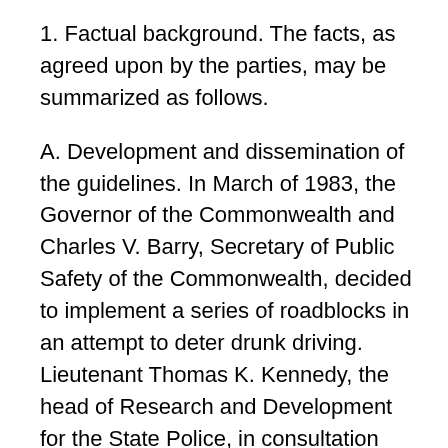1. Factual background. The facts, as agreed upon by the parties, may be summarized as follows.
A. Development and dissemination of the guidelines. In March of 1983, the Governor of the Commonwealth and Charles V. Barry, Secretary of Public Safety of the Commonwealth, decided to implement a series of roadblocks in an attempt to deter drunk driving. Lieutenant Thomas K. Kennedy, the head of Research and Development for the State Police, in consultation with several individuals and organizations. [Note 3] created a set of guidelines relative to roadblocks. The guidelines were developed with a view toward compliance with this court's opinion in Commonwealth v. McGeoghegan, 389 Mass. 137 (1983). The guidelines were never officially promulgated as certain